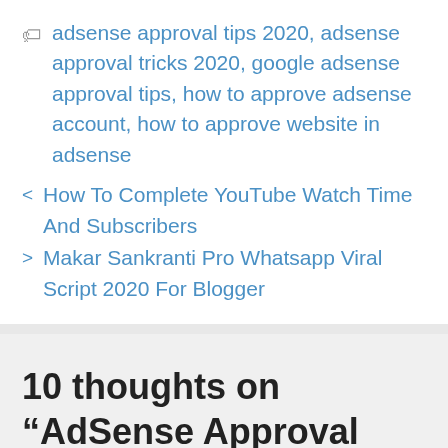🏷 adsense approval tips 2020, adsense approval tricks 2020, google adsense approval tips, how to approve adsense account, how to approve website in adsense
< How To Complete YouTube Watch Time And Subscribers
> Makar Sankranti Pro Whatsapp Viral Script 2020 For Blogger
10 thoughts on “AdSense Approval Trick 2020 – 100% Approve Your Website”